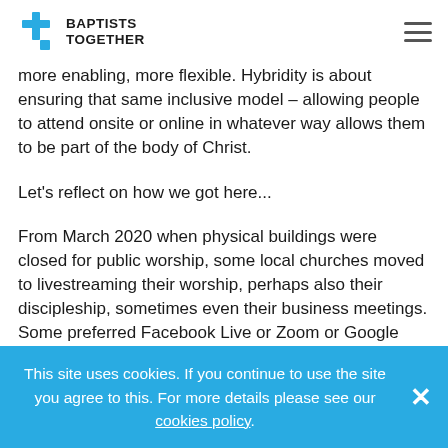BAPTISTS TOGETHER
more enabling, more flexible. Hybridity is about ensuring that same inclusive model – allowing people to attend onsite or online in whatever way allows them to be part of the body of Christ.
Let's reflect on how we got here...
From March 2020 when physical buildings were closed for public worship, some local churches moved to livestreaming their worship, perhaps also their discipleship, sometimes even their business meetings. Some preferred Facebook Live or Zoom or Google Meet or even ancient technologies known as Skype or Teams
This site uses cookies. If you continue to use the site you agree to this. For more details please see our cookies policy.